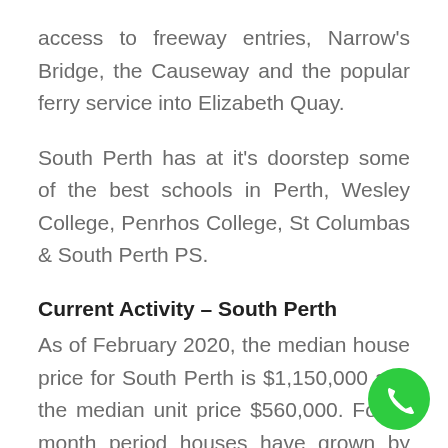access to freeway entries, Narrow's Bridge, the Causeway and the popular ferry service into Elizabeth Quay.
South Perth has at it's doorstep some of the best schools in Perth, Wesley College, Penrhos College, St Columbas & South Perth PS.
Current Activity – South Perth
As of February 2020, the median house price for South Perth is $1,150,000 and the median unit price $560,000. For th month period houses have grown by 1.7%
[Figure (other): Green circular phone call button in the bottom-right corner of the page.]